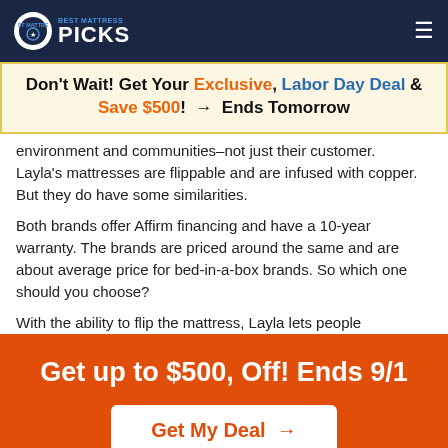Best Mattress Picks
Don't Wait! Get Your Exclusive, Labor Day Deal & Save $500! → Ends Tomorrow
environment and communities–not just their customer. Layla's mattresses are flippable and are infused with copper. But they do have some similarities.
Both brands offer Affirm financing and have a 10-year warranty. The brands are priced around the same and are about average price for bed-in-a-box brands. So which one should you choose?
With the ability to flip the mattress, Layla lets people
Get up to $500, Off! Ends 9/1
Get My Deal →